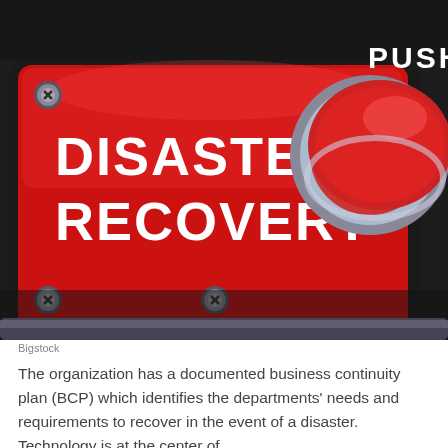[Figure (photo): Close-up photo of a red rectangular button labeled 'DISASTER RECOVERY' in white bold text, with screws at the corners, next to a large red push button labeled 'PUSH' on a dark metallic panel.]
Bigstock
The organization has a documented business continuity plan (BCP) which identifies the departments' needs and requirements to recover in the event of a disaster. Technology is at the center of